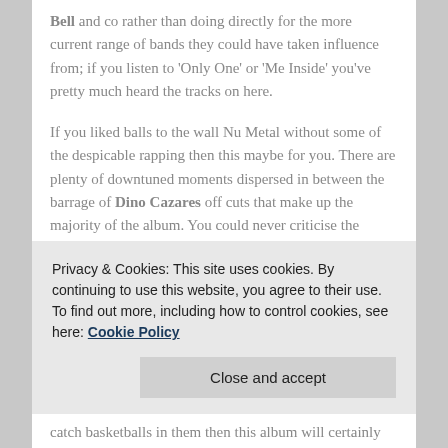Bell and co rather than doing directly for the more current range of bands they could have taken influence from; if you listen to 'Only One' or 'Me Inside' you've pretty much heard the tracks on here.
If you liked balls to the wall Nu Metal without some of the despicable rapping then this maybe for you. There are plenty of downtuned moments dispersed in between the barrage of Dino Cazares off cuts that make up the majority of the album. You could never criticise the album for lacking punch or aggression, but there is a quarrel with the album lacking originality. This is a record whose influences all cut off around the same time people started to buy clothes that weren't
catch basketballs in them then this album will certainly
Privacy & Cookies: This site uses cookies. By continuing to use this website, you agree to their use.
To find out more, including how to control cookies, see here: Cookie Policy
Close and accept